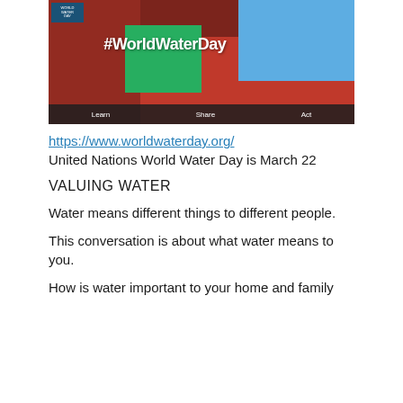[Figure (illustration): World Water Day promotional illustration with #WorldWaterDay text overlay, colorful scene with people, buildings, river, and a Learn/Share/Act toolbar at the bottom]
https://www.worldwaterday.org/
United Nations World Water Day is March 22
VALUING WATER
Water means different things to different people.
This conversation is about what water means to you.
How is water important to your home and family